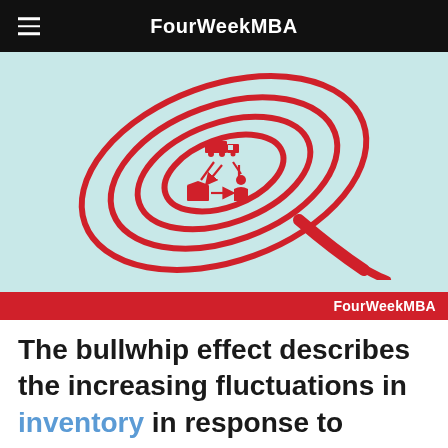FourWeekMBA
[Figure (illustration): Bullwhip effect illustration: a red spiral/whip shape on a light teal background with supply chain icons (truck, warehouse, person) connected in a cycle in the center. Red banner at bottom reads FourWeekMBA.]
The bullwhip effect describes the increasing fluctuations in inventory in response to changing consumer demand as one...